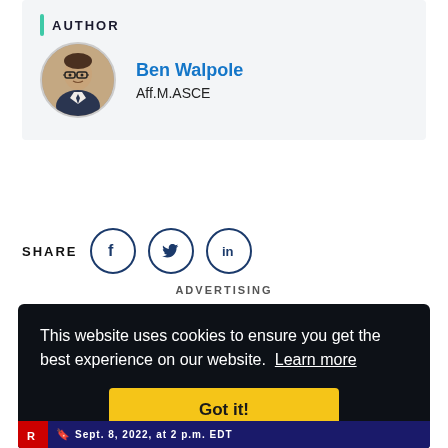AUTHOR
Ben Walpole
Aff.M.ASCE
SHARE
ADVERTISING
This website uses cookies to ensure you get the best experience on our website.  Learn more
Got it!
Sept. 8, 2022, at 2 p.m. EDT